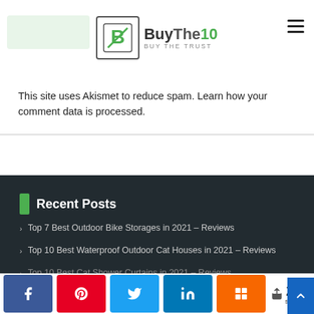BuyThe10 Buy The Trust
This site uses Akismet to reduce spam. Learn how your comment data is processed.
Recent Posts
Top 7 Best Outdoor Bike Storages in 2021 – Reviews
Top 10 Best Waterproof Outdoor Cat Houses in 2021 – Reviews
Top 10 Best Cat Shower Curtains in 2021 – Reviews
208 SHARES — Facebook, Pinterest, Twitter, LinkedIn, Mix